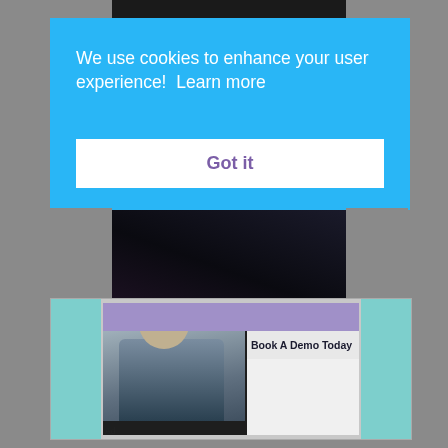[Figure (screenshot): Dark video/image area at top of page behind cookie banner]
We use cookies to enhance your user experience!  Learn more
Got it
[Figure (screenshot): Advertisement banner with a smiling man in dark shirt, 'Book A Demo Today' text, ad controls, and 'Ad' label at bottom left]